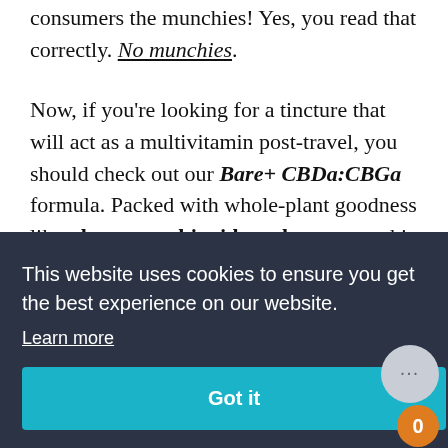consumers the munchies! Yes, you read that correctly. No munchies.
Now, if you're looking for a tincture that will act as a multivitamin post-travel, you should check out our Bare+ CBDa:CBGa formula. Packed with whole-plant goodness like phytocannabinoids and terpenes, this fabulous tincture delivers high potency cannabinoids directly to your body, providing an
This website uses cookies to ensure you get the best experience on our website.
Learn more
Got it